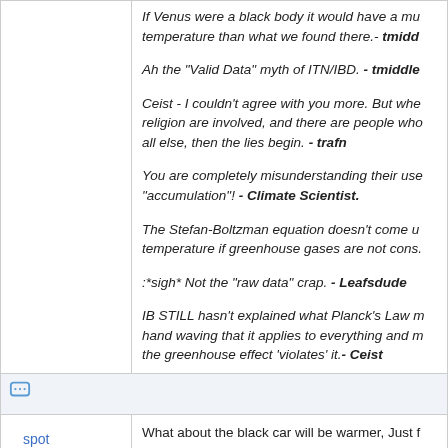If Venus were a black body it would have a much lower temperature than what we found there.- tmiddl...
Ah the "Valid Data" myth of ITN/IBD. - tmiddle...
Ceist - I couldn't agree with you more. But whe... religion are involved, and there are people who... all else, then the lies begin. - trafn
You are completely misunderstanding their use... "accumulation"! - Climate Scientist.
The Stefan-Boltzman equation doesn't come u... temperature if greenhouse gases are not cons...
:*sigh* Not the "raw data" crap. - Leafsdude
IB STILL hasn't explained what Planck's Law m... hand waving that it applies to everything and n... the greenhouse effect 'violates' it.- Ceist
spot
What about the black car will be warmer, Just f... experience I know this to be true so I was won... thoughts on that.